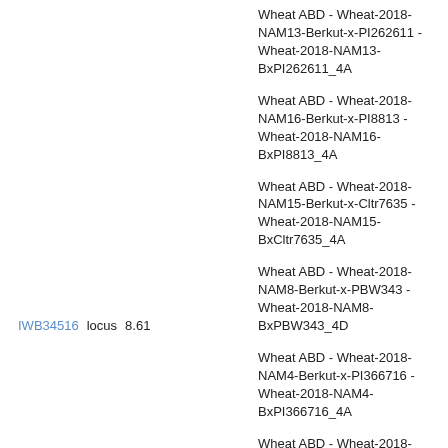Wheat ABD - Wheat-2018-NAM13-Berkut-x-PI262611 - Wheat-2018-NAM13-BxPI262611_4A
Wheat ABD - Wheat-2018-NAM16-Berkut-x-PI8813 - Wheat-2018-NAM16-BxPI8813_4A
Wheat ABD - Wheat-2018-NAM15-Berkut-x-Cltr7635 - Wheat-2018-NAM15-BxCltr7635_4A
Wheat ABD - Wheat-2018-NAM8-Berkut-x-PBW343 - Wheat-2018-NAM8-BxPBW343_4D
Wheat ABD - Wheat-2018-NAM4-Berkut-x-PI366716 - Wheat-2018-NAM4-BxPI366716_4A
IWB34516   locus   8.61
Wheat ABD - Wheat-2018-NAM9-Berkut-x-Vida - Wheat-2018-NAM9-BxVida_4A
Wheat AB - Wheat_AB_2015_Consensus - Wheat_AB_2015_Consensus-4A
Wheat ABD - Wheat-2018-NAM20-Berkut-x-PI94567 - Wheat-2018-NAM20-BxPI94567_4A